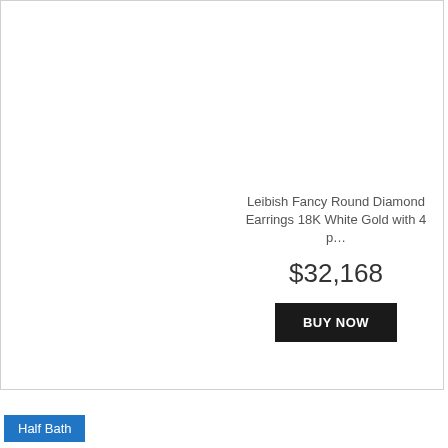Leibish Fancy Round Diamond Earrings 18K White Gold with 4 p…
$32,168
BUY NOW
Half Bath